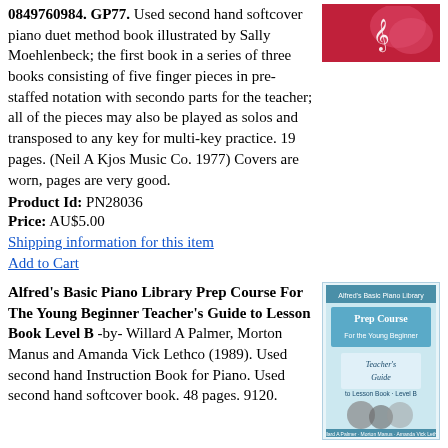0849760984. GP77. Used second hand softcover piano duet method book illustrated by Sally Moehlenbeck; the first book in a series of three books consisting of five finger pieces in pre-staffed notation with secondo parts for the teacher; all of the pieces may also be played as solos and transposed to any key for multi-key practice. 19 pages. (Neil A Kjos Music Co. 1977) Covers are worn, pages are very good.
[Figure (photo): Red book cover with white decorative design]
Product Id: PN28036
Price: AU$5.00
Shipping information for this item
Add to Cart
Alfred's Basic Piano Library Prep Course For The Young Beginner Teacher's Guide to Lesson Book Level B -by- Willard A Palmer, Morton Manus and Amanda Vick Lethco (1989). Used second hand Instruction Book for Piano. Used second hand softcover book. 48 pages. 9120.
[Figure (photo): Alfred Prep Course Teacher's Guide to Lesson Book Level B cover, light blue/teal with decorative instruments]